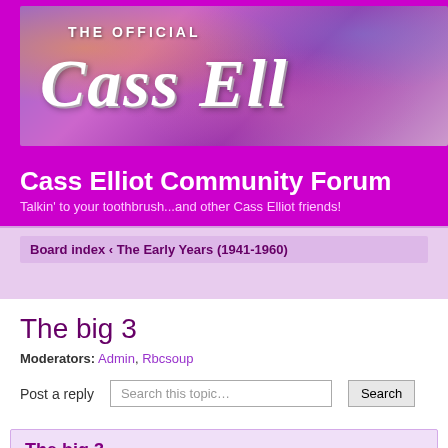[Figure (illustration): Cass Elliot Community Forum banner with purple/pink psychedelic pattern background and white italic script text reading 'THE OFFICIAL Cass Ell...' (partially cropped)]
Cass Elliot Community Forum
Talkin' to your toothbrush...and other Cass Elliot friends!
Board index ‹ The Early Years (1941-1960)
The big 3
Moderators: Admin, Rbcsoup
Post a reply
The big 3
by pufnstuf » Tue Sep 02, 2014 5:45 am